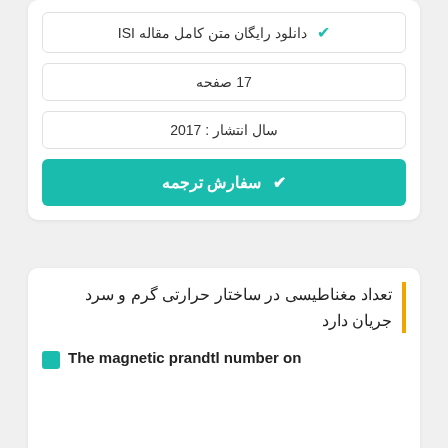✔ دانلود رایگان متن کامل مقاله ISI
17 صفحه
سال انتشار : 2017
✔ سفارش ترجمه
تعداد مغناطیسی در ساختار حرارتی گرم و سرد جریان دارد
The magnetic prandtl number on